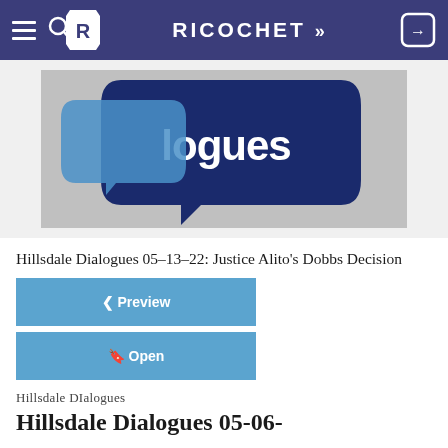≡ 🔍R  RICOCHET »  →)
[Figure (logo): Ricochet Dialogues logo — speech bubbles on grey background with text 'logues' visible in white on dark blue bubble]
Hillsdale Dialogues 05-13-22: Justice Alito's Dobbs Decision
❮❮ Preview
🔖 Open
Hillsdale DIalogues
Hillsdale Dialogues 05-06-